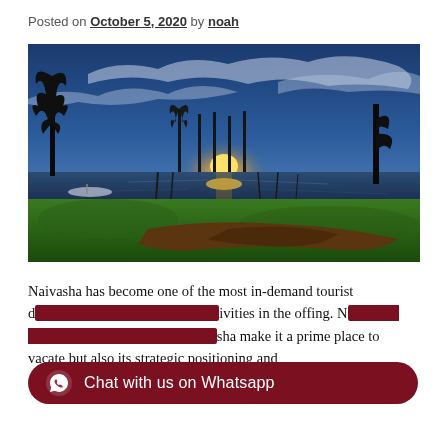Posted on October 5, 2020 by noah
[Figure (photo): Scenic lakeside sunset photo showing dead trees silhouetted against a dramatic blue and golden sky with reflections on still water, green grass in foreground with fallen tree trunk, boat visible on the left.]
Naivasha has become one of the most in-demand tourist d[estinations with numerous activ]ities in the offing. N[aivasha's natural landscapes around Naiva]sha make it a prime place to vacate but also its strategic positioning and